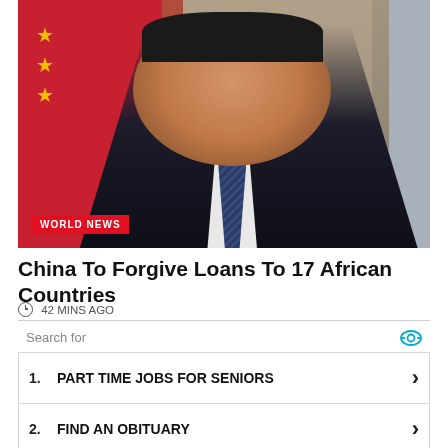[Figure (photo): Portrait photo of a man in dark suit and blue striped tie, with a red flag (Chinese flag) in the background on the left. A 'WORLD NEWS' tag appears in the lower left of the image.]
China To Forgive Loans To 17 African Countries
42 MINS AGO
Search for
1. PART TIME JOBS FOR SENIORS
2. FIND AN OBITUARY
Ad | Business Focus